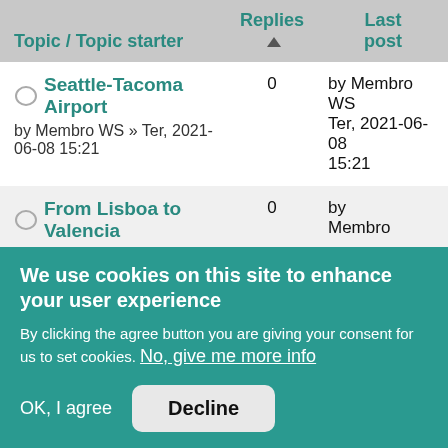| Topic / Topic starter | Replies | Last post |
| --- | --- | --- |
| Seattle-Tacoma Airport
by Membro WS » Ter, 2021-06-08 15:21 | 0 | by Membro WS Ter, 2021-06-08 15:21 |
| From Lisboa to Valencia
by Membro WS » Sáb, 2021- | 0 | by Membro |
We use cookies on this site to enhance your user experience
By clicking the agree button you are giving your consent for us to set cookies. No, give me more info
OK, I agree   Decline